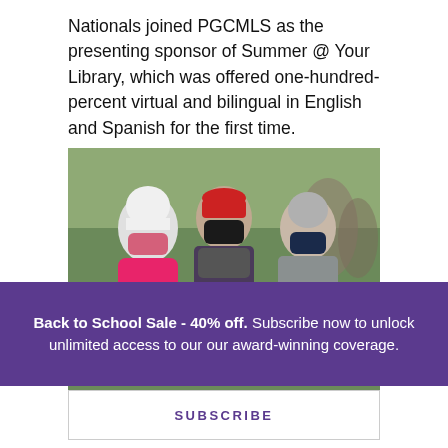Nationals joined PGCMLS as the presenting sponsor of Summer @ Your Library, which was offered one-hundred-percent virtual and bilingual in English and Spanish for the first time.
[Figure (photo): Three people wearing face masks and winter clothing standing outdoors. The person on the left wears a bright pink coat and white knit hat, holds a book. The person in the center wears a dark patterned sweater and red cap, holds a book. The person on the right wears a puffer jacket and dark mask, holds books including one titled 'Waiting to Sol'.]
Back to School Sale - 40% off. Subscribe now to unlock unlimited access to our our award-winning coverage.
SUBSCRIBE